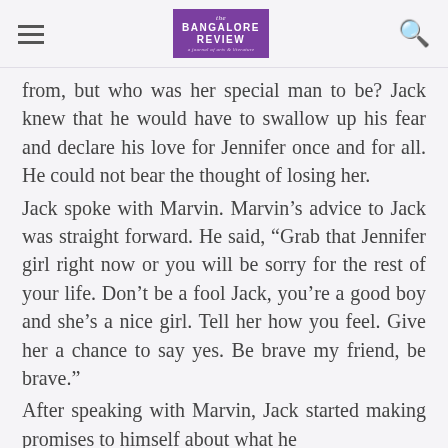The Bangalore Review
from, but who was her special man to be? Jack knew that he would have to swallow up his fear and declare his love for Jennifer once and for all. He could not bear the thought of losing her.
Jack spoke with Marvin. Marvin's advice to Jack was straight forward. He said, “Grab that Jennifer girl right now or you will be sorry for the rest of your life. Don’t be a fool Jack, you’re a good boy and she’s a nice girl. Tell her how you feel. Give her a chance to say yes. Be brave my friend, be brave."
After speaking with Marvin, Jack started making promises to himself about what he